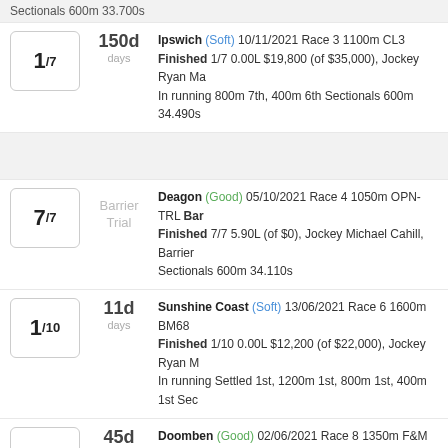Sectionals 600m 33.700s
1/7 150d days — Ipswich (Soft) 10/11/2021 Race 3 1100m CL3 Finished 1/7 0.00L $19,800 (of $35,000), Jockey Ryan Ma... In running 800m 7th, 400m 6th Sectionals 600m 34.490s
7/7 Barrier Trial — Deagon (Good) 05/10/2021 Race 4 1050m OPN-TRL Bar... Finished 7/7 5.90L (of $0), Jockey Michael Cahill, Barrier ... Sectionals 600m 34.110s
1/10 11d days — Sunshine Coast (Soft) 13/06/2021 Race 6 1600m BM68 Finished 1/10 0.00L $12,200 (of $22,000), Jockey Ryan M... In running Settled 1st, 1200m 1st, 800m 1st, 400m 1st Sec...
2/11 45d days — Doomben (Good) 02/06/2021 Race 8 1350m F&M CL3 Finished 2/11 0.10L $6,400 (of $35,000), Jockey Ryan Ma... In running Settled 3rd, 800m 1st, 400m 1st Sectionals 600...
Jump to top
8 Mill Rossa (5) T Mark Currie (Toowoomba) J Kyle Wilson-T...